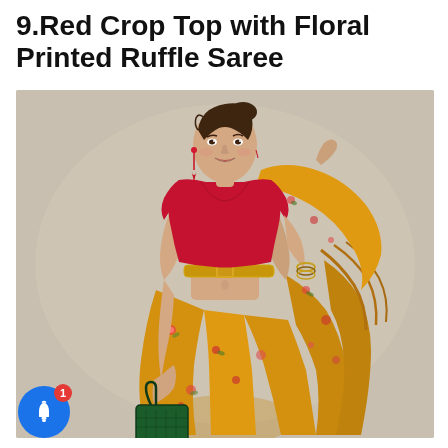9.Red Crop Top with Floral Printed Ruffle Saree
[Figure (photo): A woman wearing a red crop top blouse paired with a yellow/orange floral printed ruffle saree draped around her, accessorized with a gold belt, red tassel earrings, bangles, and carrying a dark green structured handbag. She is posing against a beige/taupe background.]